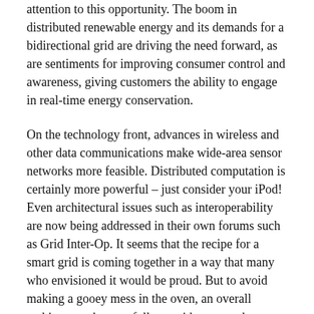attention to this opportunity. The boom in distributed renewable energy and its demands for a bidirectional grid are driving the need forward, as are sentiments for improving consumer control and awareness, giving customers the ability to engage in real-time energy conservation.
On the technology front, advances in wireless and other data communications make wide-area sensor networks more feasible. Distributed computation is certainly more powerful – just consider your iPod! Even architectural issues such as interoperability are now being addressed in their own forums such as Grid Inter-Op. It seems that the recipe for a smart grid is coming together in a way that many who envisioned it would be proud. But to avoid making a gooey mess in the oven, an overall architecture that carefully considers seven key ingredients for success must first exist.